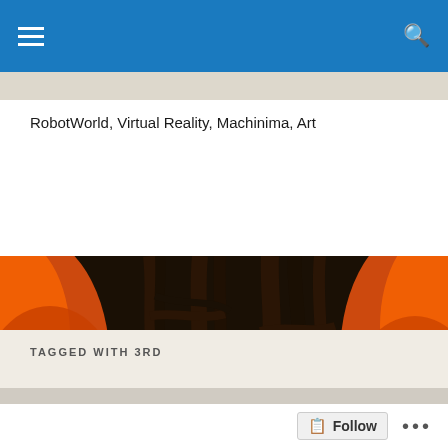Navigation bar with hamburger menu and search icon
RobotWorld, Virtual Reality, Machinima, Art
[Figure (illustration): 3D rendered virtual world scene showing a female avatar with blonde hair crouching on the left, and a grey rabbit-like robot character holding a camera on the right, surrounded by orange glowing organic tree-like structures forming a dome/arch, with dark twisted branches in the background]
TAGGED WITH 3RD
The NORWICH FILM...